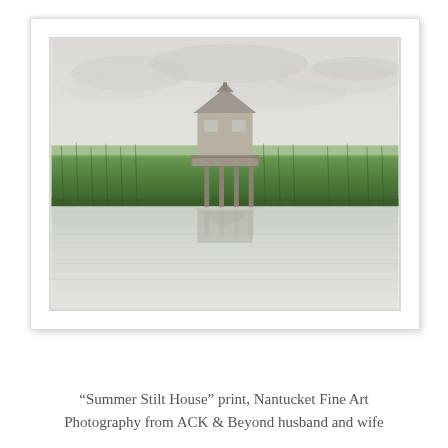[Figure (photo): A framed fine art photograph showing a stilt house (shingle-style cottage elevated on stilts) standing in a green marsh with calm reflective water in the foreground and an overcast sky. The image is displayed in a white mat frame with a white border. The scene is serene and muted in color.]
“Summer Stilt House” print, Nantucket Fine Art Photography from ACK & Beyond husband and wife